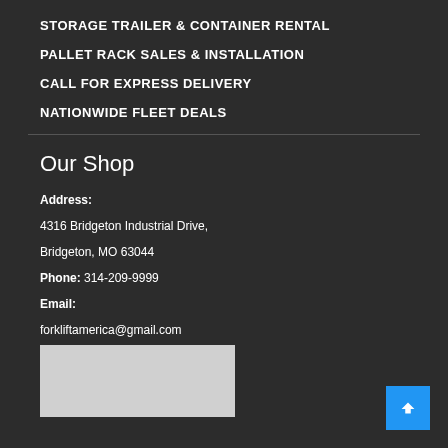STORAGE TRAILER & CONTAINER RENTAL
PALLET RACK SALES & INSTALLATION
CALL FOR EXPRESS DELIVERY
NATIONWIDE FLEET DEALS
Our Shop
Address: 4316 Bridgeton Industrial Drive, Bridgeton, MO 63044
Phone: 314-209-9999
Email: forkliftamerica@gmail.com
[Figure (map): Google Maps embed placeholder showing shop location]